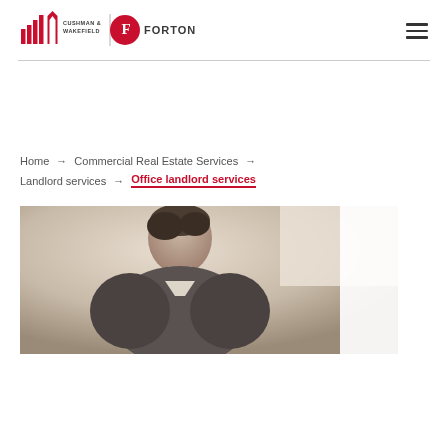Cushman & Wakefield | Forton
Home → Commercial Real Estate Services → Landlord services → Office landlord services
[Figure (photo): Person in business attire leaning over a desk, desaturated/sepia-toned photo]